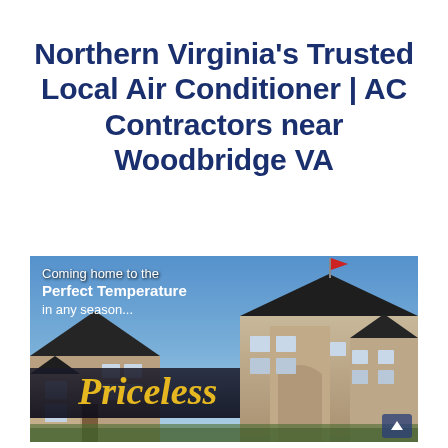Northern Virginia's Trusted Local Air Conditioner | AC Contractors near Woodbridge VA
[Figure (photo): Advertising image of a large suburban house with brick exterior under a blue sky, with white overlay text reading 'Coming home to the Perfect Temperature in any season...' and a yellow italic script word 'Priceless' overlaid on a dark banner area in front of the house.]